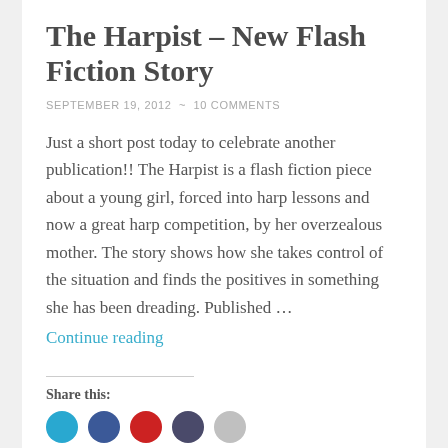The Harpist – New Flash Fiction Story
SEPTEMBER 19, 2012  ~  10 COMMENTS
Just a short post today to celebrate another publication!! The Harpist is a flash fiction piece about a young girl, forced into harp lessons and now a great harp competition, by her overzealous mother. The story shows how she takes control of the situation and finds the positives in something she has been dreading. Published …
Continue reading
Share this: